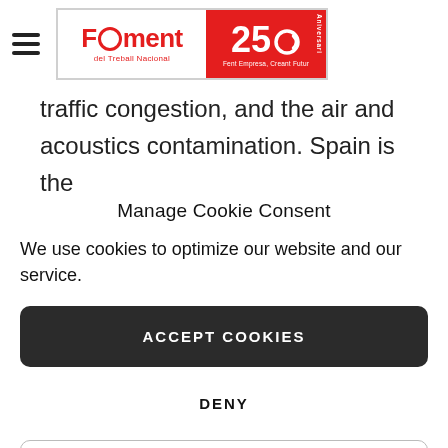[Figure (logo): Foment del Treball Nacional 250 Aniversari logo with hamburger menu icon]
traffic congestion, and the air and acoustics contamination. Spain is the
Manage Cookie Consent
We use cookies to optimize our website and our service.
ACCEPT COOKIES
DENY
VIEW PREFERENCES